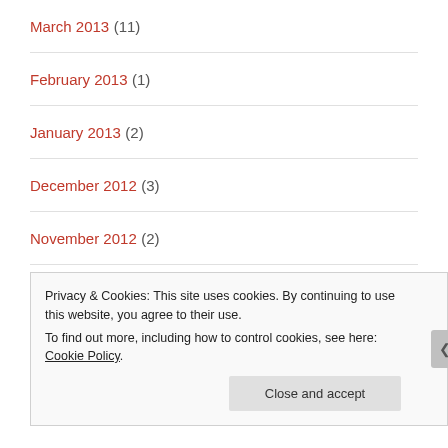March 2013 (11)
February 2013 (1)
January 2013 (2)
December 2012 (3)
November 2012 (2)
October 2012 (3)
September 2012 (7)
Privacy & Cookies: This site uses cookies. By continuing to use this website, you agree to their use.
To find out more, including how to control cookies, see here: Cookie Policy
Close and accept